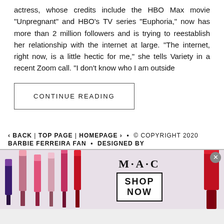actress, whose credits include the HBO Max movie “Unpregnant” and HBO’s TV series “Euphoria,” now has more than 2 million followers and is trying to reestablish her relationship with the internet at large. “The internet, right now, is a little hectic for me,” she tells Variety in a recent Zoom call. “I don’t know who I am outside
CONTINUE READING
‹ BACK | TOP PAGE | HOMEPAGE › • © COPYRIGHT 2020 BARBIE FERREIRA FAN • DESIGNED BY
[Figure (photo): MAC Cosmetics advertisement banner showing lipsticks in purple, pink, and red colors with MAC logo and SHOP NOW button]